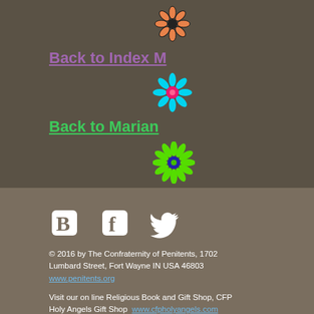[Figure (illustration): Orange flower icon at top]
Back to Index M
[Figure (illustration): Pink/cyan flower icon in middle]
Back to Marian
[Figure (illustration): Green flower icon at bottom]
Back to Home Page
[Figure (illustration): Social media icons: Blogger, Facebook, Twitter]
© 2016 by The Confraternity of Penitents, 1702 Lumbard Street, Fort Wayne IN USA 46803 www.penitents.org
Visit our on line Religious Book and Gift Shop, CFP Holy Angels Gift Shop  www.cfpholyangels.com